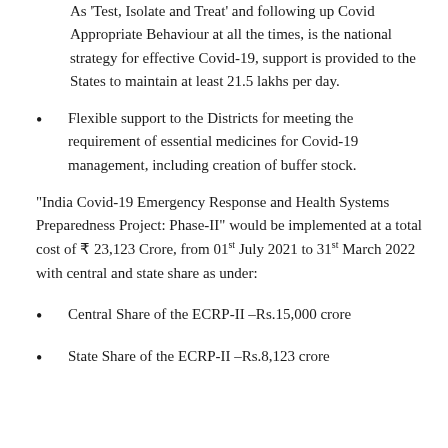As 'Test, Isolate and Treat' and following up Covid Appropriate Behaviour at all the times, is the national strategy for effective Covid-19, support is provided to the States to maintain at least 21.5 lakhs per day.
Flexible support to the Districts for meeting the requirement of essential medicines for Covid-19 management, including creation of buffer stock.
"India Covid-19 Emergency Response and Health Systems Preparedness Project: Phase-II" would be implemented at a total cost of ₹ 23,123 Crore, from 01ʺ July 2021 to 31ʺ March 2022 with central and state share as under:
Central Share of the ECRP-II –Rs.15,000 crore
State Share of the ECRP-II –Rs.8,123 crore